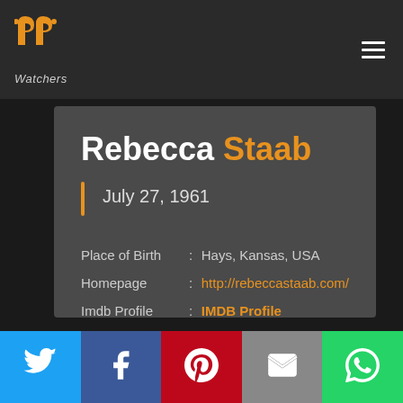PP Watchers logo and navigation
Rebecca Staab
July 27, 1961
Place of Birth : Hays, Kansas, USA
Homepage : http://rebeccastaab.com/
Imdb Profile : IMDB Profile
Twitter | Facebook | Pinterest | Email | WhatsApp